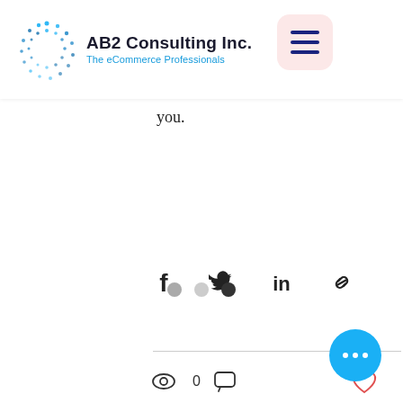[Figure (logo): AB2 Consulting Inc. logo with teal/blue dotted circle graphic and text 'AB2 Consulting Inc. The eCommerce Professionals']
you.
[Figure (infographic): Social share icons row: Facebook, Twitter, LinkedIn, Link/chain icons]
[Figure (infographic): Post engagement bar: eye/view icon with count 0, comment icon, and heart/like icon on the right]
[Figure (infographic): Pagination dots: three dots (grey, light grey, dark/black) indicating current page 3 of 3]
[Figure (infographic): Blue circular floating action button with three white dots (more options)]